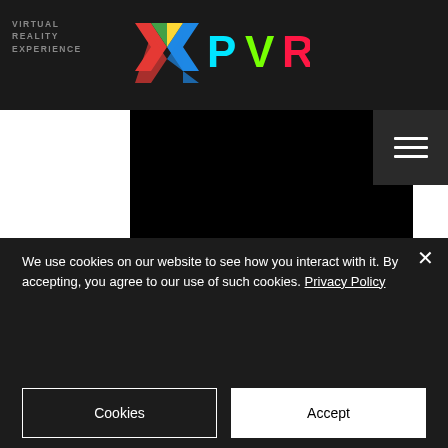VIRTUAL REALITY EXPERIENCE
[Figure (logo): XPVR logo with colorful X and neon lettering PVR]
HOURS
MON - FRI: 10:00 - 20:30*
SAT: 10:00 - 20:30
SUN: 10:00- 18:00
Call: 01782 229259
VISIT US
62 PICCADILLY
HANLEY
STOKE ON TRENT
STAFFORDSHIRE
ST1 1HX
We use cookies on our website to see how you interact with it. By accepting, you agree to our use of such cookies. Privacy Policy